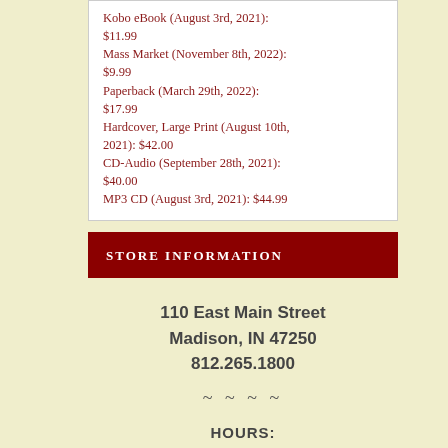Kobo eBook (August 3rd, 2021): $11.99
Mass Market (November 8th, 2022): $9.99
Paperback (March 29th, 2022): $17.99
Hardcover, Large Print (August 10th, 2021): $42.00
CD-Audio (September 28th, 2021): $40.00
MP3 CD (August 3rd, 2021): $44.99
STORE INFORMATION
110 East Main Street
Madison, IN 47250
812.265.1800
~ ~ ~ ~
HOURS: